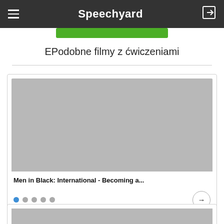Speechyard
EPodobne filmy z ćwiczeniami
[Figure (screenshot): Card with grey thumbnail placeholder for 'Men in Black: International - Becoming a...' with pagination dots and arrow button]
Men in Black: International - Becoming a...
[Figure (screenshot): Partial card with grey thumbnail placeholder at bottom of page]